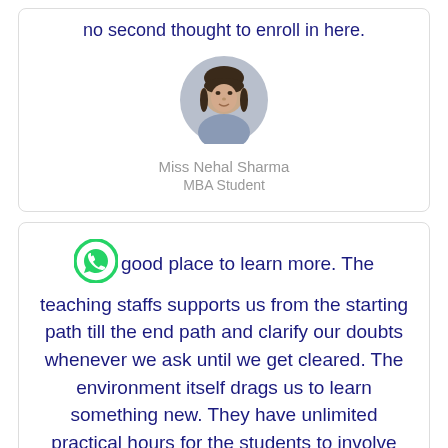no second thought to enroll in here.
[Figure (photo): Circular avatar photo of Miss Nehal Sharma, a young woman]
Miss Nehal Sharma
MBA Student
good place to learn more. The teaching staffs supports us from the starting path till the end path and clarify our doubts whenever we ask until we get cleared. The environment itself drags us to learn something new. They have unlimited practical hours for the students to involve much into the design. Ov...
[Figure (logo): WhatsApp green icon with Free Help button]